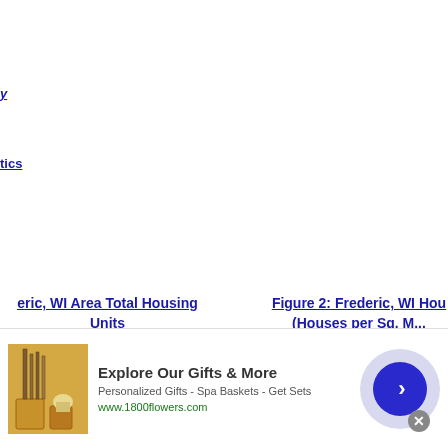y
tics
eric, WI Area Total Housing Units
Figure 2: Frederic, WI Hou (Houses per Sq. M...
[Figure (infographic): Info icon circle for figure 1]
[Figure (infographic): Info icon circle for figure 2]
[Figure (screenshot): Advertisement banner for 1800flowers.com: Explore Our Gifts & More, Personalized Gifts - Spa Baskets - Get Sets]